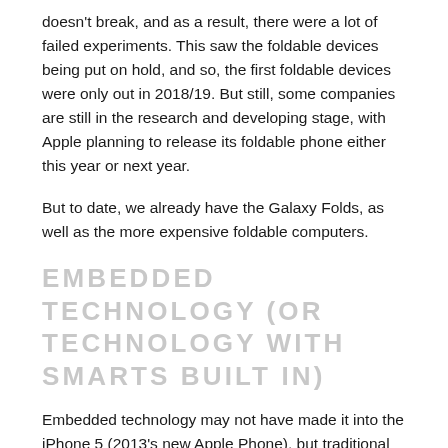doesn't break, and as a result, there were a lot of failed experiments. This saw the foldable devices being put on hold, and so, the first foldable devices were only out in 2018/19. But still, some companies are still in the research and developing stage, with Apple planning to release its foldable phone either this year or next year.
But to date, we already have the Galaxy Folds, as well as the more expensive foldable computers.
EMBEDDED TECHNOLOGY (OR TECHNOLOGY WITH SMARTS BUILT IN)
Embedded technology may not have made it into the iPhone 5 (2013's new Apple Phone), but traditional